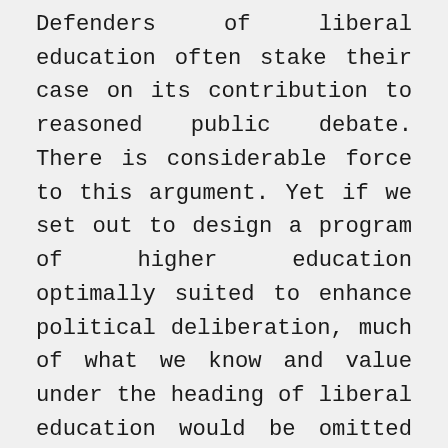Defenders of liberal education often stake their case on its contribution to reasoned public debate. There is considerable force to this argument. Yet if we set out to design a program of higher education optimally suited to enhance political deliberation, much of what we know and value under the heading of liberal education would be omitted as irrelevant.  This is because the telos of the liberal arts is not the full development of citizens; it is the full development of human beings. The virtues of the university are those qualities and practices that conduce to this comprehensive human good.  Does this mean that liberal education has no claim to public subsidy?  No. The sort of thought that forms and deepens human beings is a public good,